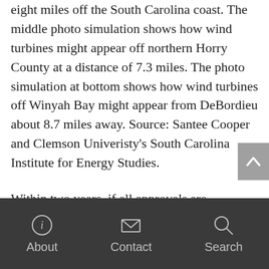five to eight, or three, four, five, six, seven, and eight miles off the South Carolina coast. The middle photo simulation shows how wind turbines might appear off northern Horry County at a distance of 7.3 miles. The photo simulation at bottom shows how wind turbines off Winyah Bay might appear from DeBordieu about 8.7 miles away. Source: Santee Cooper and Clemson Univeristy's South Carolina Institute for Energy Studies.
Within two years, if all approvals are acquired, Cape Wind could become the nation's first offshore wind farm connected to an electrical grid—if it doesn't get nosed out by a proposed
About  Contact  Search